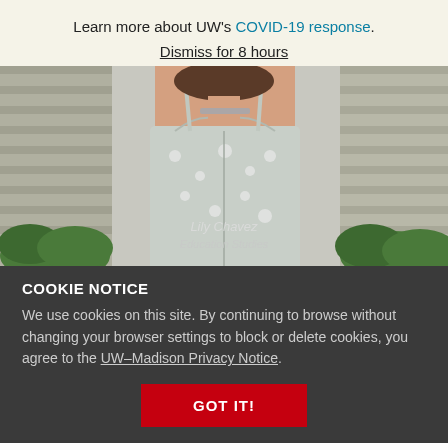Learn more about UW's COVID-19 response.
Dismiss for 8 hours
[Figure (photo): Photo of a woman wearing a light grey floral sundress, standing outdoors near bushes and a house exterior. Text overlay shows 'Lily Chavez' and 'Education Studies'.]
COOKIE NOTICE
We use cookies on this site. By continuing to browse without changing your browser settings to block or delete cookies, you agree to the UW–Madison Privacy Notice.
GOT IT!